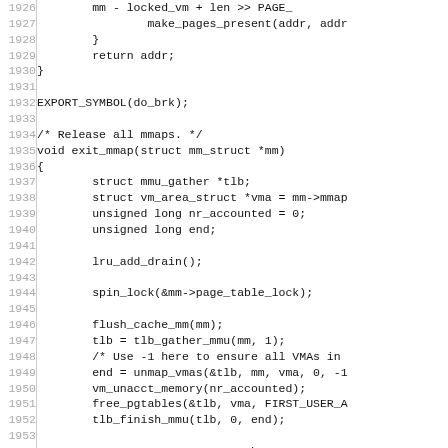[Figure (other): Source code listing (C/Linux kernel) showing lines 1926-1956, including make_pages_present, return addr, EXPORT_SYMBOL(do_brk), and exit_mmap function with body including mmu_gather, vm_area_struct, lru_add_drain, spin_lock, flush_cache_mm, tlb_gather_mmu, unmap_vmas, vm_unacct_memory, free_pgtables, tlb_finish_mmu, mm->mmap, mm->mm_rb, set_mm_counter calls.]